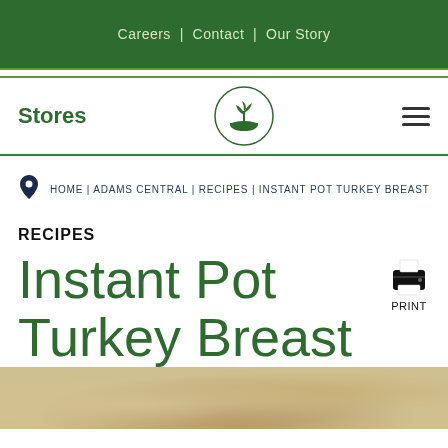Careers | Contact | Our Story
Stores
[Figure (logo): Circular logo with a plant/sprout in a bowl]
≡ (hamburger menu)
HOME | ADAMS CENTRAL | RECIPES | INSTANT POT TURKEY BREAST
RECIPES
Instant Pot Turkey Breast
[Figure (photo): Food photo showing cooked turkey breast dish]